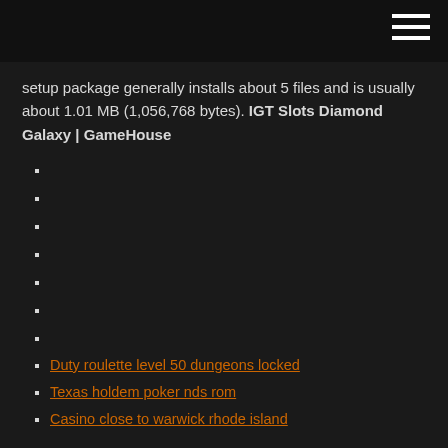setup package generally installs about 5 files and is usually about 1.01 MB (1,056,768 bytes). IGT Slots Diamond Galaxy | GameHouse
Duty roulette level 50 dungeons locked
Texas holdem poker nds rom
Casino close to warwick rhode island